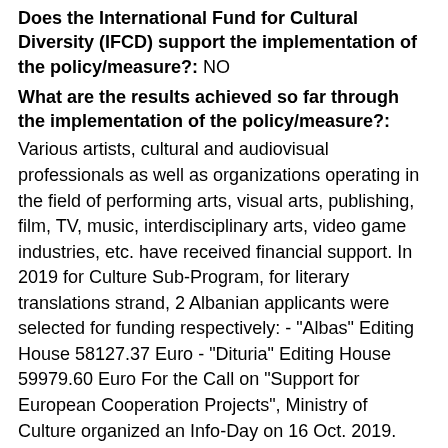Does the International Fund for Cultural Diversity (IFCD) support the implementation of the policy/measure?:  NO
What are the results achieved so far through the implementation of the policy/measure?:
Various artists, cultural and audiovisual professionals as well as organizations operating in the field of performing arts, visual arts, publishing, film, TV, music, interdisciplinary arts, video game industries, etc. have received financial support. In 2019 for Culture Sub-Program, for literary translations strand, 2 Albanian applicants were selected for funding respectively: - "Albas" Editing House 58127.37 Euro - "Dituria" Editing House 59979.60 Euro For the Call on "Support for European Cooperation Projects", Ministry of Culture organized an Info-Day on 16 Oct. 2019. There was one application from Albania but it was not selected for funding. For Media Sub-Program There was one indirect beneficiary of 25 000 Euro – because of participation of Albanian Movies in the event of "Transilvania International Film Festival 2019" Rumania. For 2020, there were 300